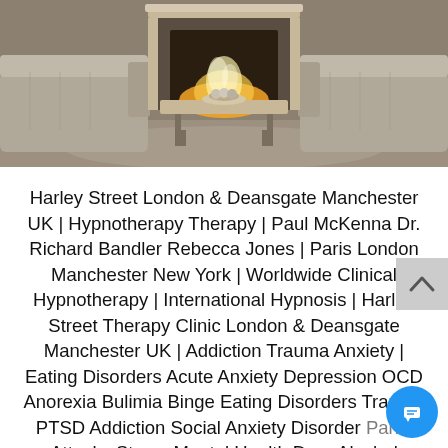[Figure (photo): Interior living room scene with two grey tufted sofas, a wooden coffee table with a decorative bowl, a lit fireplace in the background, and an ornate rug on the floor.]
Harley Street London & Deansgate Manchester UK | Hypnotherapy Therapy | Paul McKenna Dr. Richard Bandler Rebecca Jones | Paris London Manchester New York | Worldwide Clinical Hypnotherapy | International Hypnosis | Harley Street Therapy Clinic London & Deansgate Manchester UK | Addiction Trauma Anxiety | Eating Disorders Acute Anxiety Depression OCD Anorexia Bulimia Binge Eating Disorders Trauma PTSD Addiction Social Anxiety Disorder Panic Attacks Stress Mental Health Drug Alcohol Addiction | Christmas | New Year